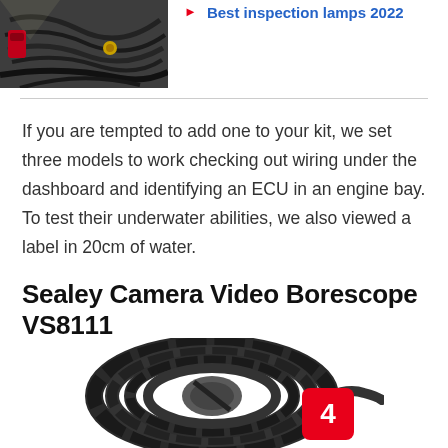[Figure (photo): Car engine bay with wiring and components visible]
Best inspection lamps 2022
If you are tempted to add one to your kit, we set three models to work checking out wiring under the dashboard and identifying an ECU in an engine bay. To test their underwater abilities, we also viewed a label in 20cm of water.
Sealey Camera Video Borescope VS8111
[Figure (photo): Sealey Camera Video Borescope VS8111 coiled cable with badge number 4]